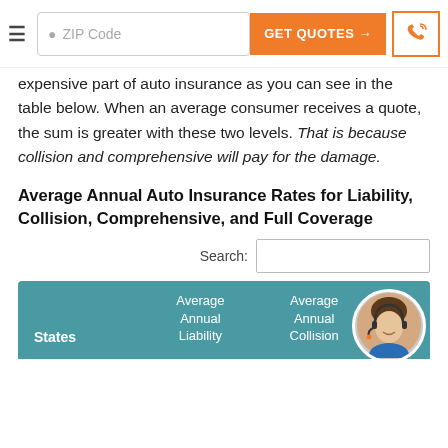ZIP Code | GET QUOTES →
expensive part of auto insurance as you can see in the table below. When an average consumer receives a quote, the sum is greater with these two levels. That is because collision and comprehensive will pay for the damage.
Average Annual Auto Insurance Rates for Liability, Collision, Comprehensive, and Full Coverage
Search:
| States | Average Annual Liability | Average Annual Collision |
| --- | --- | --- |